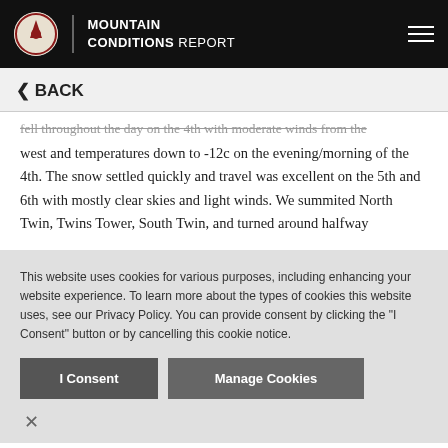MOUNTAIN CONDITIONS REPORT
< BACK
fell throughout the day on the 4th with moderate winds from the west and temperatures down to -12c on the evening/morning of the 4th. The snow settled quickly and travel was excellent on the 5th and 6th with mostly clear skies and light winds. We summited North Twin, Twins Tower, South Twin, and turned around halfway
This website uses cookies for various purposes, including enhancing your website experience. To learn more about the types of cookies this website uses, see our Privacy Policy. You can provide consent by clicking the "I Consent" button or by cancelling this cookie notice.
I Consent
Manage Cookies